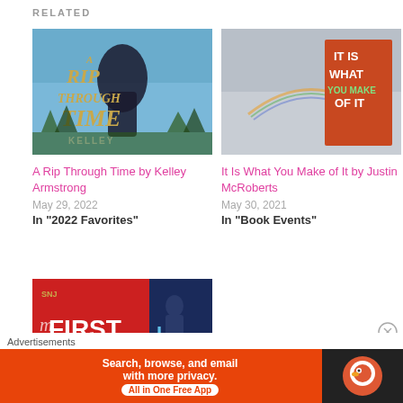RELATED
[Figure (photo): Book cover of 'A Rip Through Time' by Kelley Armstrong against blue sky background]
A Rip Through Time by Kelley Armstrong
May 29, 2022
In "2022 Favorites"
[Figure (photo): Book cover of 'It Is What You Make of It' by Justin McRoberts held against cloudy sky with rainbow]
It Is What You Make of It by Justin McRoberts
May 30, 2021
In "Book Events"
[Figure (photo): Book cover of 'Firstborn' by Will Dean - red and blue toned cover collage]
Advertisements
[Figure (screenshot): DuckDuckGo advertisement banner: Search, browse, and email with more privacy. All in One Free App]